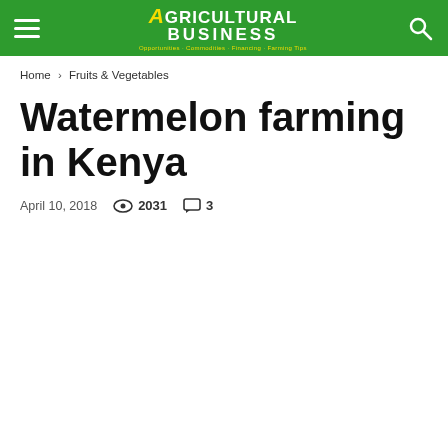Agricultural Business — Opportunities · Commodities · Financing · Farming Tips
Home › Fruits & Vegetables
Watermelon farming in Kenya
April 10, 2018   👁 2031   💬 3